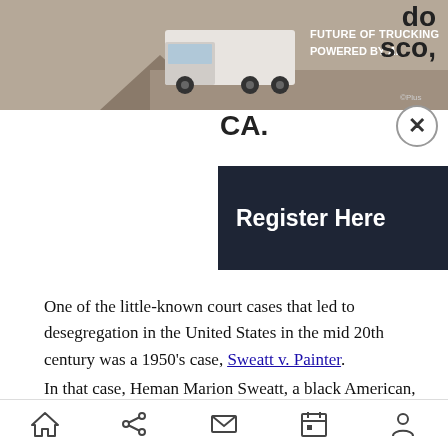[Figure (screenshot): Advertisement banner: truck image with text 'FUTURE OF TRUCKING POWERED BY AI' and a dark background. Partially visible text on right reads 'do sco, CA.' with a close button (X).]
[Figure (screenshot): Dark 'Register Here' button]
One of the little-known court cases that led to desegregation in the United States in the mid 20th century was a 1950's case, Sweatt v. Painter.
In that case, Heman Marion Sweatt, a black American, argued in his suit for admission to the University of Texas Law School on the grounds that segregated law schools were unequal not only in physical facilities and curriculum, but in